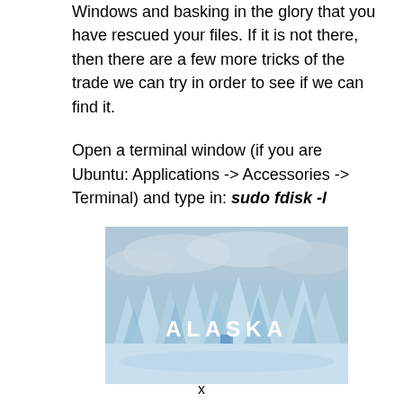Windows and basking in the glory that you have rescued your files. If it is not there, then there are a few more tricks of the trade we can try in order to see if we can find it.
Open a terminal window (if you are Ubuntu: Applications -> Accessories -> Terminal) and type in: sudo fdisk -l
[Figure (photo): Photo of glaciers or ice formations with the word ALASKA written in white bold letters across the center]
x